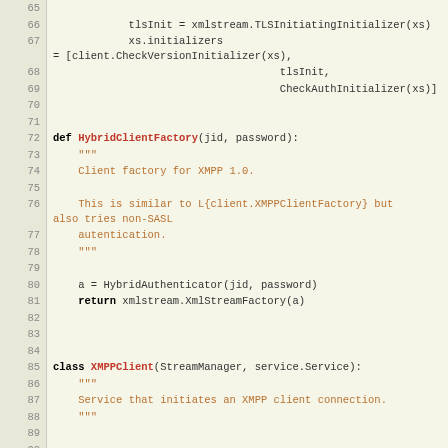[Figure (screenshot): Source code listing showing Python code for HybridClientFactory function and XMPPClient class, with line numbers 65-94, using syntax highlighting with keywords in bold, function names in red, docstrings in orange, and numeric literals in blue.]